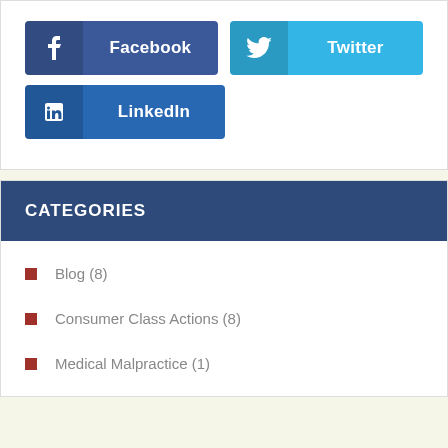[Figure (infographic): Social media share buttons: Facebook (dark blue), Twitter (light blue), LinkedIn (medium blue)]
CATEGORIES
Blog (8)
Consumer Class Actions (8)
Medical Malpractice (1)